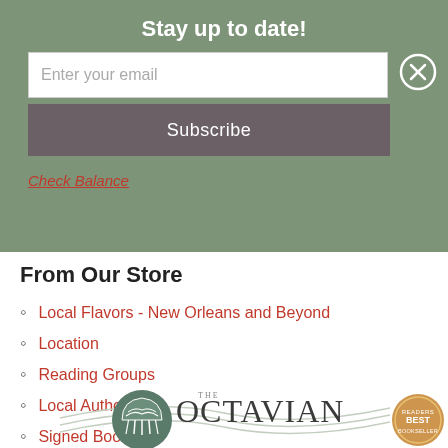Stay up to date!
Enter your email
Subscribe
Check Balance
From Our Store
Local Flavors - New Orleans and Beyond
Location
Reading Groups
Local Authors
Signed Books
Photos
[Figure (logo): The Octavian Society logo with circular emblem and 'BEST' badge]